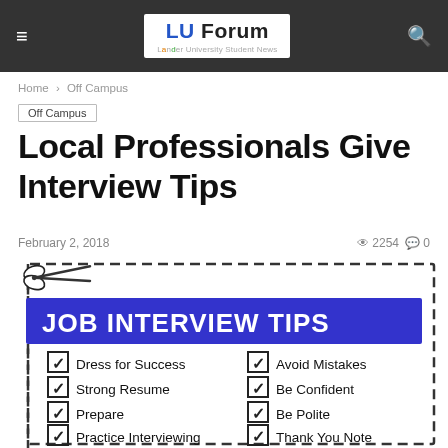LU Forum — Lander University Student News
Home > Off Campus
Off Campus
Local Professionals Give Interview Tips
February 2, 2018   2254   0
[Figure (illustration): Job Interview Tips checklist graphic with blue banner header reading 'JOB INTERVIEW TIPS', scissors cutting dashed border, and checkmarks next to: Dress for Success, Strong Resume, Prepare, Practice Interviewing, Avoid Mistakes, Be Confident, Be Polite, Thank You Note, No Expiration Date.]